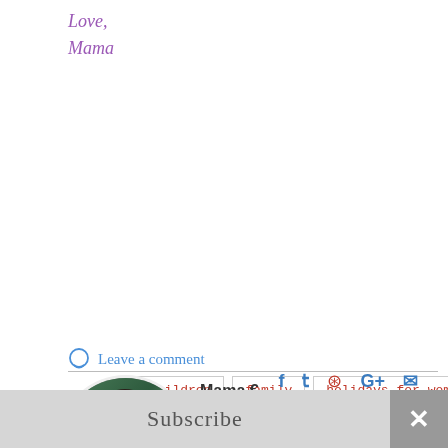Love,
Mama
children
family
holidays for women
international womens day
March holidays
woman
women
Leave a comment
Mama €
Multitasking mama to
Subscribe